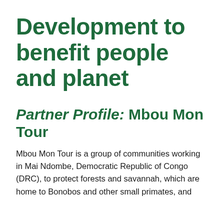Development to benefit people and planet
Partner Profile: Mbou Mon Tour
Mbou Mon Tour is a group of communities working in Mai Ndombe, Democratic Republic of Congo (DRC), to protect forests and savannah, which are home to Bonobos and other small primates, and